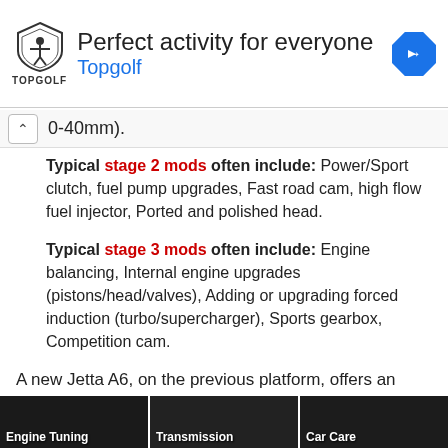[Figure (infographic): Topgolf advertisement banner with shield logo, 'Perfect activity for everyone' headline, 'Topgolf' in blue, and a blue diamond direction arrow icon on the right.]
0-40mm).
Typical stage 2 mods often include: Power/Sport clutch, fuel pump upgrades, Fast road cam, high flow fuel injector, Ported and polished head.
Typical stage 3 mods often include: Engine balancing, Internal engine upgrades (pistons/head/valves), Adding or upgrading forced induction (turbo/supercharger), Sports gearbox, Competition cam.
A new Jetta A6, on the previous platform, offers an evolution rather than revolution, but why change a working concept.
[Figure (screenshot): Bottom image strip showing three thumbnails: Engine Tuning, Transmission, Car Care]